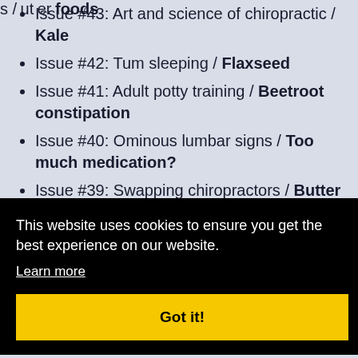Issue #43: Art and science of chiropractic / Kale
Issue #42: Tum sleeping / Flaxseed
Issue #41: Adult potty training / Beetroot constipation
Issue #40: Ominous lumbar signs / Too much medication?
Issue #39: Swapping chiropractors / Butter is back
[Figure (screenshot): Cookie consent banner overlay with black background. Text reads: 'This website uses cookies to ensure you get the best experience on our website.' with a 'Learn more' underlined link and a yellow 'Got it!' button.]